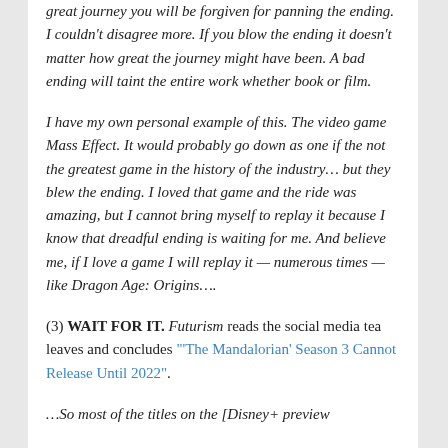great journey you will be forgiven for panning the ending. I couldn't disagree more. If you blow the ending it doesn't matter how great the journey might have been. A bad ending will taint the entire work whether book or film.
I have my own personal example of this. The video game Mass Effect. It would probably go down as one if the not the greatest game in the history of the industry… but they blew the ending. I loved that game and the ride was amazing, but I cannot bring myself to replay it because I know that dreadful ending is waiting for me. And believe me, if I love a game I will replay it — numerous times — like Dragon Age: Origins….
(3) WAIT FOR IT. Futurism reads the social media tea leaves and concludes "'The Mandalorian' Season 3 Cannot Release Until 2022".
…So most of the titles on the [Disney+ preview